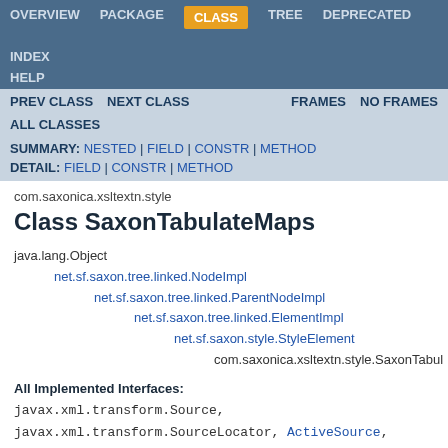OVERVIEW | PACKAGE | CLASS | TREE | DEPRECATED | INDEX | HELP
PREV CLASS | NEXT CLASS | FRAMES | NO FRAMES | ALL CLASSES
SUMMARY: NESTED | FIELD | CONSTR | METHOD | DETAIL: FIELD | CONSTR | METHOD
com.saxonica.xsltextn.style
Class SaxonTabulateMaps
java.lang.Object
    net.sf.saxon.tree.linked.NodeImpl
        net.sf.saxon.tree.linked.ParentNodeImpl
            net.sf.saxon.tree.linked.ElementImpl
                net.sf.saxon.style.StyleElement
                    com.saxonica.xsltextn.style.SaxonTabulateMaps
All Implemented Interfaces:
javax.xml.transform.Source, javax.xml.transform.SourceLocator, ActiveSource, GroundedValue, Item, MutableNodeInfo, NamespaceResolver, NodeInfo, Sequence, Location, SteppingNode, SiblingCountingNode, org.xml.sax.Locator